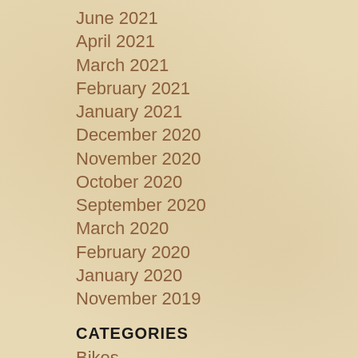June 2021
April 2021
March 2021
February 2021
January 2021
December 2020
November 2020
October 2020
September 2020
March 2020
February 2020
January 2020
November 2019
CATEGORIES
Bikes
Christmas